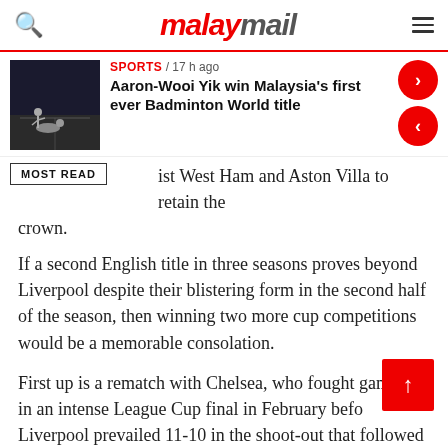malaymail
[Figure (photo): Thumbnail photo of badminton players on court]
SPORTS / 17 h ago
Aaron-Wooi Yik win Malaysia's first ever Badminton World title
ist West Ham and Aston Villa to retain the crown.
If a second English title in three seasons proves beyond Liverpool despite their blistering form in the second half of the season, then winning two more cup competitions would be a memorable consolation.
First up is a rematch with Chelsea, who fought gamely in an intense League Cup final in February before Liverpool prevailed 11-10 in the shoot-out that followed a 0-0 draw.
Liverpool and Chelsea are the first English teams to